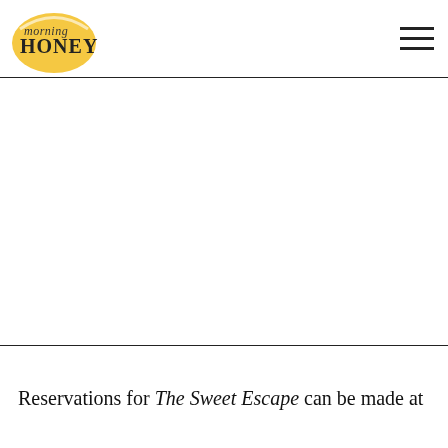[Figure (logo): Morning Honey logo: yellow oval shape with 'morning' in italic script and 'HONEY' in bold serif text]
Article continues below advertisement
Reservations for The Sweet Escape can be made at